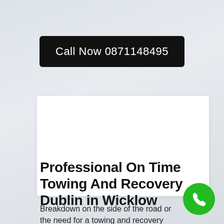Call Now 0871148495
[Figure (other): White card placeholder area]
Professional On Time Towing And Recovery Dublin in Wicklow
Breakdown on the side of the road or the need for a towing and recovery dublin or involved in an accident in this area can be a
[Figure (illustration): Green circular phone call button in bottom right corner]